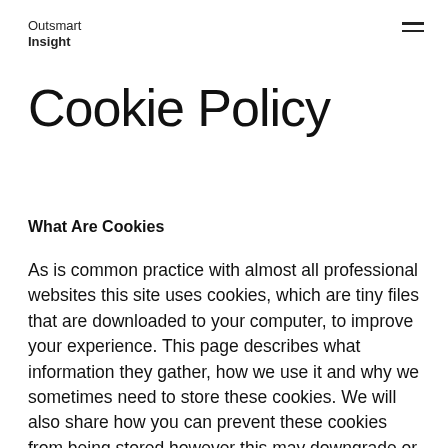Outsmart
Insight
Cookie Policy
What Are Cookies
As is common practice with almost all professional websites this site uses cookies, which are tiny files that are downloaded to your computer, to improve your experience. This page describes what information they gather, how we use it and why we sometimes need to store these cookies. We will also share how you can prevent these cookies from being stored however this may downgrade or 'break' certain elements of the sites